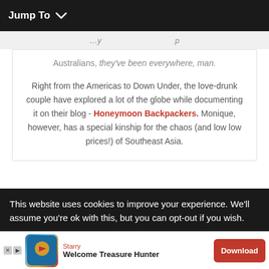Jump To
Australians, they've been everywhere, man.
Right from the Americas to Down Under, the love-drunk couple have explored a lot of the globe while documenting it on their blog - Honeymoon Backpackers. Monique, however, has a special kinship for the chaos (and low low prices!) of Southeast Asia.
This website uses cookies to improve your experience. We'll assume you're ok with this, but you can opt-out if you wish.
[Figure (other): Advertisement banner: Starry - Welcome Treasure Hunter with Download button]